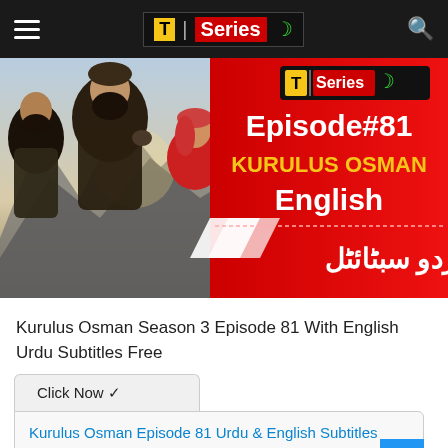T | Series (logo with moon icon)
[Figure (screenshot): Thumbnail image for Kurulus Osman Season 3 Episode 81. Left side shows three characters in Ottoman warrior costumes (two men and a woman) against a mountain background. Right side has a red background with white and yellow text: T Series logo, Episode#81, KURULUS OSMAN, English, and Urdu subtitle text.]
Kurulus Osman Season 3 Episode 81 With English Urdu Subtitles Free
Click Now ✓
Kurulus Osman Episode 81 Urdu & English Subtitles Free of Cost...